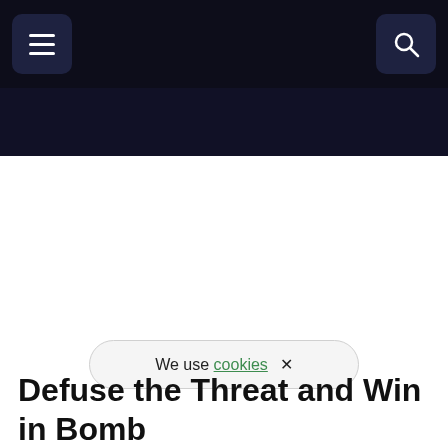Navigation header with menu and search buttons
We use cookies ×
Defuse the Threat and Win in Bomb